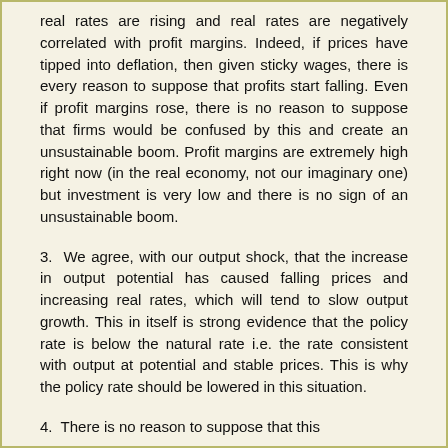real rates are rising and real rates are negatively correlated with profit margins. Indeed, if prices have tipped into deflation, then given sticky wages, there is every reason to suppose that profits start falling. Even if profit margins rose, there is no reason to suppose that firms would be confused by this and create an unsustainable boom. Profit margins are extremely high right now (in the real economy, not our imaginary one) but investment is very low and there is no sign of an unsustainable boom.
3. We agree, with our output shock, that the increase in output potential has caused falling prices and increasing real rates, which will tend to slow output growth. This in itself is strong evidence that the policy rate is below the natural rate i.e. the rate consistent with output at potential and stable prices. This is why the policy rate should be lowered in this situation.
4. There is no reason to suppose that this